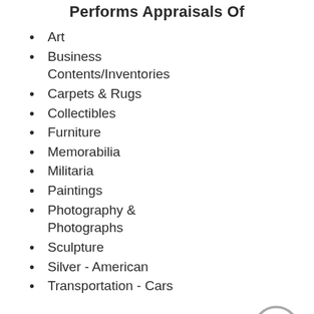Performs Appraisals Of
Art
Business Contents/Inventories
Carpets & Rugs
Collectibles
Furniture
Memorabilia
Militaria
Paintings
Photography & Photographs
Sculpture
Silver - American
Transportation - Cars
Website
http://www.aardvark-